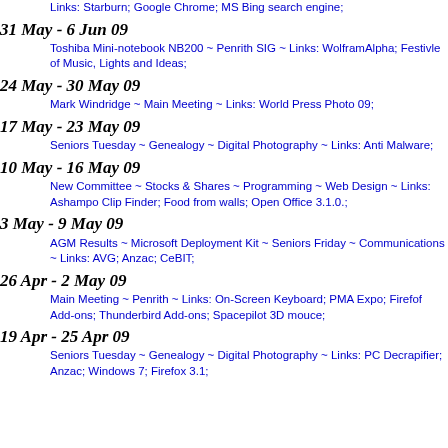Links: Starburn; Google Chrome; MS Bing search engine;
31 May - 6 Jun 09
24 May - 30 May 09
17 May - 23 May 09
10 May - 16 May 09
3 May - 9 May 09
26 Apr - 2 May 09
19 Apr - 25 Apr 09